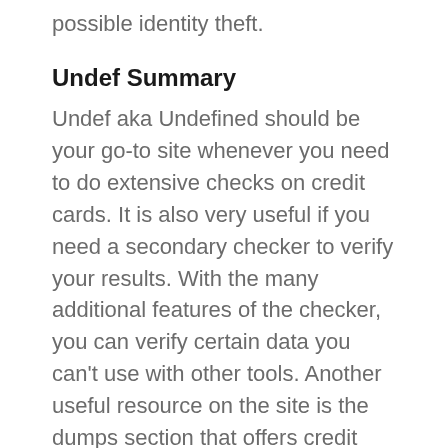possible identity theft.
Undef Summary
Undef aka Undefined should be your go-to site whenever you need to do extensive checks on credit cards. It is also very useful if you need a secondary checker to verify your results. With the many additional features of the checker, you can verify certain data you can’t use with other tools. Another useful resource on the site is the dumps section that offers credit cards with PIN information. As